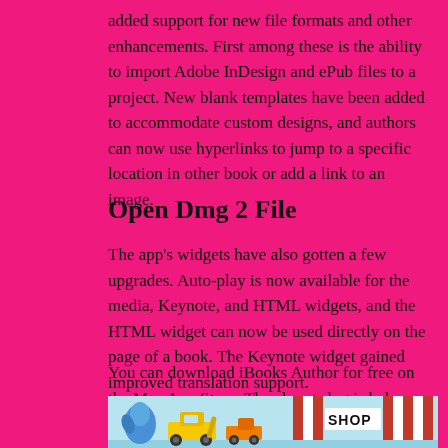added support for new file formats and other enhancements. First among these is the ability to import Adobe InDesign and ePub files to a project. New blank templates have been added to accommodate custom designs, and authors can now use hyperlinks to jump to a specific location in other book or add a link to an image.
Open Dmg 2 File
The app's widgets have also gotten a few upgrades. Auto-play is now available for the media, Keynote, and HTML widgets, and the HTML widget can now be used directly on the page of a book. The Keynote widget gained improved translation support.
You can download iBooks Author for free on the Mac App Store. The change log is below.
[Figure (illustration): A colorful illustration showing toy vehicles and a SHOP sign on a light blue background]